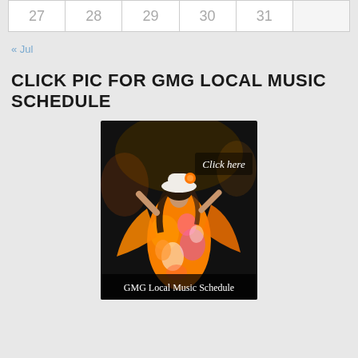| 27 | 28 | 29 | 30 | 31 |  |  |
« Jul
CLICK PIC FOR GMG LOCAL MUSIC SCHEDULE
[Figure (photo): A dancer in a colorful orange and pink floral dress and white hat, photographed from behind in a dark venue. Text overlaid: 'Click here' and 'GMG Local Music Schedule']